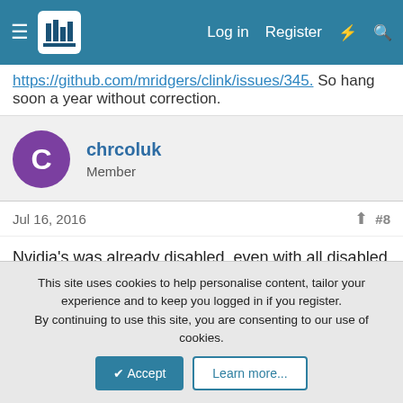Forum navigation bar with hamburger menu, logo, Log in, Register, and search icons
https://github.com/mridgers/clink/issues/345. So hang soon a year without correction.
chrcoluk
Member
Jul 16, 2016  #8
Nvidia's was already disabled, even with all disabled it still pauses. ☹

Ok I found the problem.

I have emisosft anti malware installed which the behaviour
This site uses cookies to help personalise content, tailor your experience and to keep you logged in if you register.
By continuing to use this site, you are consenting to our use of cookies.
[Accept] [Learn more...]